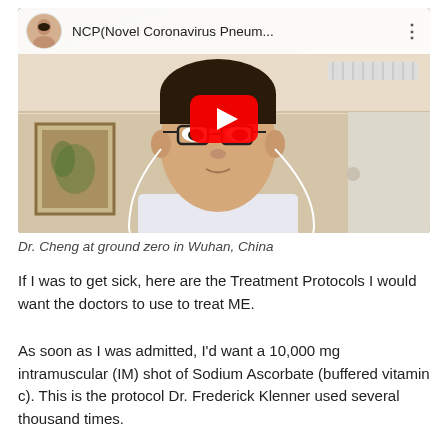[Figure (screenshot): YouTube video thumbnail showing Dr. Cheng in a video call, with YouTube player bar at top showing title 'NCP(Novel Coronavirus Pneum...' and a red YouTube play button overlay in the center.]
Dr. Cheng at ground zero in Wuhan, China
If I was to get sick, here are the Treatment Protocols I would want the doctors to use to treat ME.
As soon as I was admitted, I'd want a 10,000 mg intramuscular (IM) shot of Sodium Ascorbate (buffered vitamin c). This is the protocol Dr. Frederick Klenner used several thousand times.